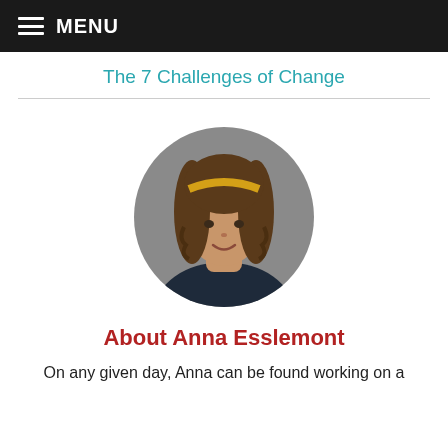MENU
The 7 Challenges of Change
[Figure (photo): Circular portrait photo of Anna Esslemont, a woman with curly brown hair and a yellow headband, wearing a dark top, against a grey background.]
About Anna Esslemont
On any given day, Anna can be found working on a